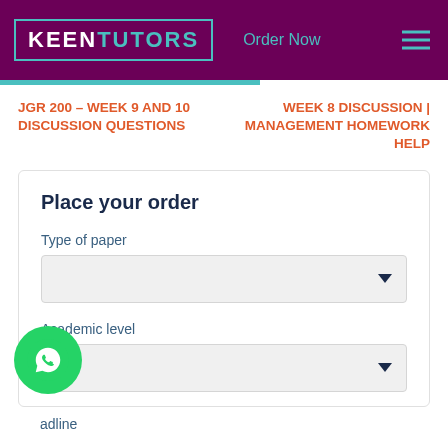[Figure (logo): KEEN TUTORS logo with teal border on purple background, with Order Now link and hamburger menu]
JGR 200 – WEEK 9 AND 10 DISCUSSION QUESTIONS
WEEK 8 DISCUSSION | MANAGEMENT HOMEWORK HELP
Place your order
Type of paper
Academic level
Deadline